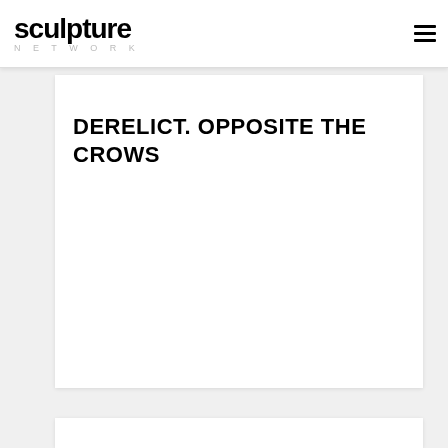sculpture NETWORK
DERELICT. OPPOSITE THE CROWS